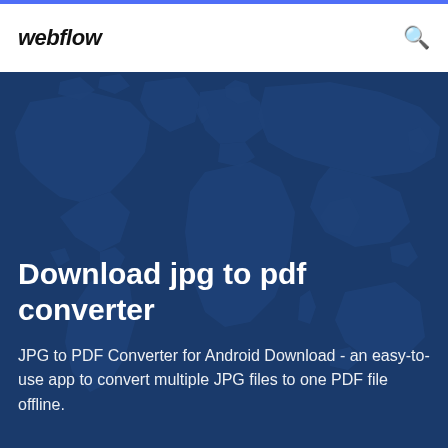webflow
[Figure (illustration): World map silhouette on dark navy blue background used as hero banner background]
Download jpg to pdf converter
JPG to PDF Converter for Android Download - an easy-to-use app to convert multiple JPG files to one PDF file offline.